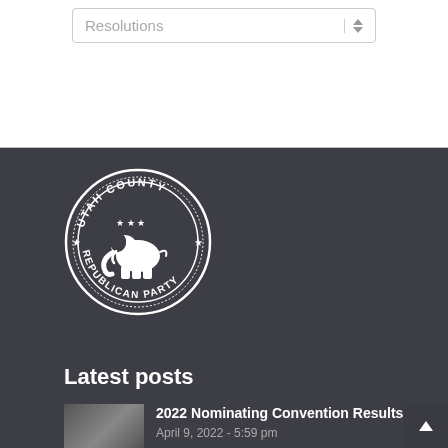Resolutions
[Figure (logo): Utah County Republican Party circular seal logo in white on dark background, featuring an elephant in the center with stars and the text UTAH COUNTY REPUBLICAN PARTY around the border]
Latest posts
[Figure (photo): Thumbnail photo of a convention or meeting venue]
2022 Nominating Convention Results
April 9, 2022 - 5:59 pm